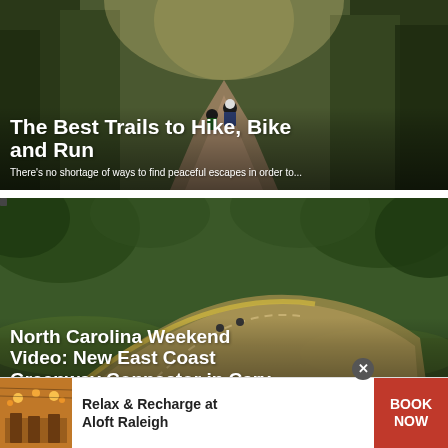[Figure (photo): Two cyclists riding on a forest trail with sunlight filtering through trees]
The Best Trails to Hike, Bike and Run
There's no shortage of ways to find peaceful escapes in order to...
[Figure (photo): Aerial view of cyclists on a curved greenway bridge surrounded by trees]
North Carolina Weekend Video: New East Coast Greenway Connector in Cary
[Figure (infographic): Advertisement banner: Relax & Recharge at Aloft Raleigh with BOOK NOW button]